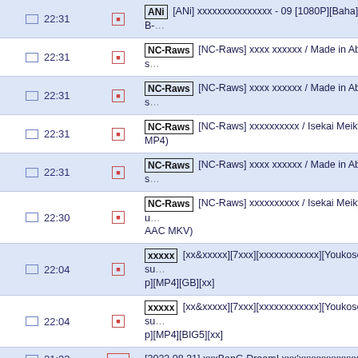| Time | Icon | Title |
| --- | --- | --- |
| 皿 22:31 | 皿 | ANi [ANi] xxxxxx - 09 [1080P][Baha][WEB-... |
| 皿 22:31 | 皿 | NC-Raws [NC-Raws] xxxx xxxxxx / Made in Abys... |
| 皿 22:31 | 皿 | NC-Raws [NC-Raws] xxxx xxxxxx / Made in Abys... |
| 皿 22:31 | 皿 | NC-Raws [NC-Raws] xxxxxxxxxx / Isekai Meiky... MP4) |
| 皿 22:31 | 皿 | NC-Raws [NC-Raws] xxxx xxxxxx / Made in Abys... |
| 皿 22:30 | 皿 | NC-Raws [NC-Raws] xxxxxxxxxx / Isekai Meikyuu... AAC MKV) |
| 皿 22:04 | 皿 | xxxxx [xx&xxxxx][7xxx][xxxxxxxxxxxx][Youkoso Jitsu... p][MP4][GB][xx] |
| 皿 22:04 | 皿 | xxxxx [xx&xxxxx][7xxx][xxxxxxxxxxxx][Youkoso Jitsu... p][MP4][BIG5][xx] |
| 皿 21:33 | xxxxx | [2022.08.31] xxxBanG Dream! xxx'xxxxxxxxxxxxxxx |
| 皿 21:33 | 皿 | xxC9xxx [xxxxxxx] [xxx_Lycoris Recoil] [09] [x264... |
| 皿 21:32 | 皿 | xxC9xxx [xxxxxxx] [xxx_Lycoris Recoil] [09] [x264... |